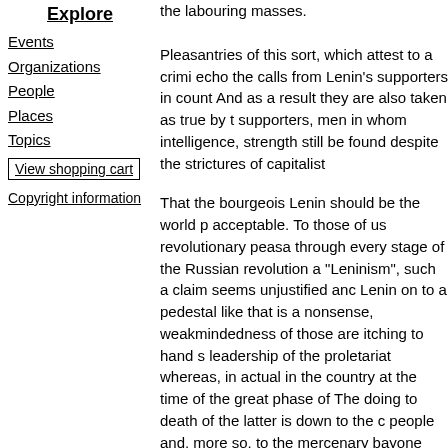Explore
Events
Organizations
People
Places
Topics
View shopping cart
Copyright information
the labouring masses.
Pleasantries of this sort, which attest to a crimi echo the calls from Lenin’s supporters in count And as a result they are also taken as true by t supporters, men in whom intelligence, strength still be found despite the strictures of capitalist
That the bourgeois Lenin should be the world p acceptable. To those of us revolutionary peasa through every stage of the Russian revolution a “Leninism”, such a claim seems unjustified anc Lenin on to a pedestal like that is a nonsense, weakmindedness of those are itching to hand s leadership of the proletariat whereas, in actual in the country at the time of the great phase of The doing to death of the latter is down to the c people and, more so, to the mercenary bayone blindness, hired themselves out to the Leninist